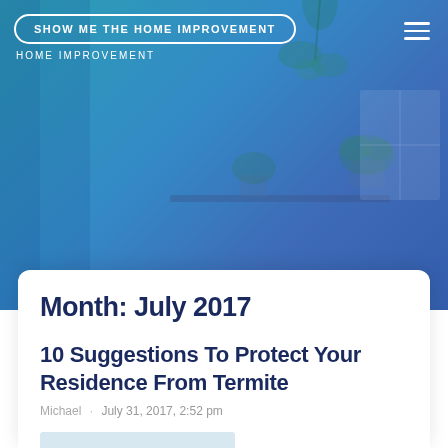SHOW ME THE HOME IMPROVEMENT
HOME IMPROVEMENT
Month: July 2017
10 Suggestions To Protect Your Residence From Termite
Michael · July 31, 2017, 2:52 pm
[Figure (photo): A man standing next to a white car, photo associated with the article]
Henry Dwelling Interiors is the